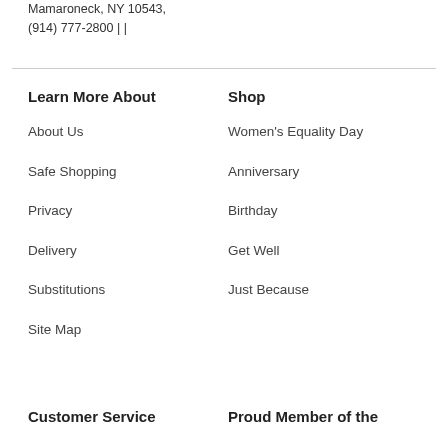Mamaroneck, NY 10543,
(914) 777-2800 | |
Learn More About
Shop
About Us
Women's Equality Day
Safe Shopping
Anniversary
Privacy
Birthday
Delivery
Get Well
Substitutions
Just Because
Site Map
Customer Service
Proud Member of the